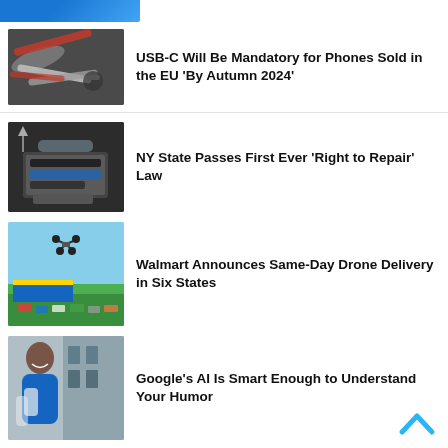[Figure (screenshot): Top banner with blue logo/image clipped at top]
[Figure (photo): Tangled USB-C cables, red and white, close-up]
USB-C Will Be Mandatory for Phones Sold in the EU ‘By Autumn 2024’
[Figure (photo): Hand holding open device showing battery/internals for right to repair]
NY State Passes First Ever ‘Right to Repair’ Law
[Figure (photo): Drone flying over Walmart parking lot, blue sky]
Walmart Announces Same-Day Drone Delivery in Six States
[Figure (photo): Smiling woman outdoors near building]
Google’s AI Is Smart Enough to Understand Your Humor